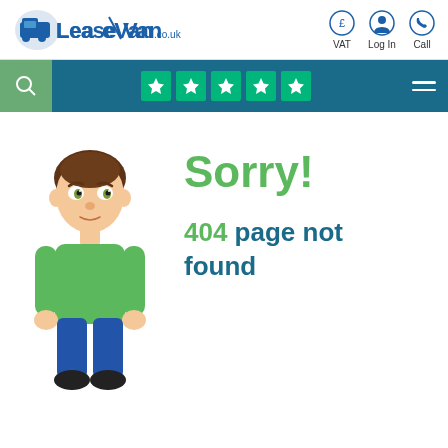LeaseVan.co.uk — VAT, Log In, Call
[Figure (logo): LeaseVan.co.uk logo with van icon in blue]
[Figure (screenshot): Navigation bar with search icon, Trustpilot 5 stars (green), and hamburger menu]
[Figure (illustration): 3D cartoon character of a man in green shirt and blue trousers]
Sorry!
404 page not found